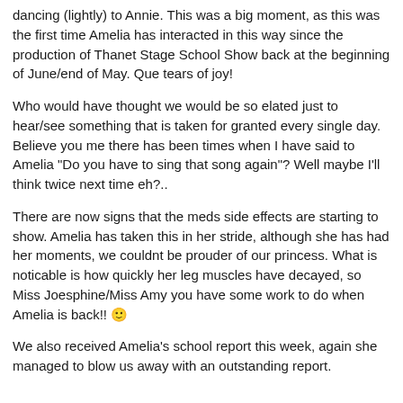dancing (lightly) to Annie. This was a big moment, as this was the first time Amelia has interacted in this way since the production of Thanet Stage School Show back at the beginning of June/end of May. Que tears of joy!
Who would have thought we would be so elated just to hear/see something that is taken for granted every single day. Believe you me there has been times when I have said to Amelia "Do you have to sing that song again"? Well maybe I'll think twice next time eh?..
There are now signs that the meds side effects are starting to show. Amelia has taken this in her stride, although she has had her moments, we couldnt be prouder of our princess. What is noticable is how quickly her leg muscles have decayed, so Miss Joesphine/Miss Amy you have some work to do when Amelia is back!! 🙂
We also received Amelia's school report this week, again she managed to blow us away with an outstanding report.